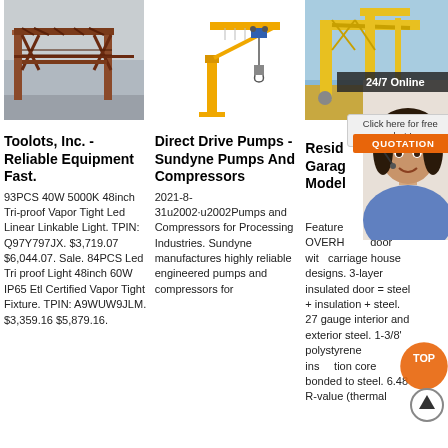[Figure (photo): Large red/rust gantry crane structure against grey sky]
Toolots, Inc. - Reliable Equipment Fast.
93PCS 40W 5000K 48inch Tri-proof Vapor Tight Led Linear Linkable Light. TPIN: Q97Y797JX. $3,719.07 $6,044.07. Sale. 84PCS Led Tri proof Light 48inch 60W IP65 Etl Certified Vapor Tight Fixture. TPIN: A9WUW9JLM. $3,359.16 $5,879.16.
[Figure (illustration): Yellow jib crane / wall-mounted crane with hoist on white background]
Direct Drive Pumps - Sundyne Pumps And Compressors
2021-8-31u2002·u2002Pumps and Compressors for Processing Industries. Sundyne manufactures highly reliable engineered pumps and compressors for
[Figure (photo): Yellow industrial crane with blue sky, overlaid with 24/7 Online badge, click here for free chat button, quotation button, and customer service representative portrait]
Residential Garage Door Models
Features OVERHEAD door with carriage house designs. 3-layer insulated door = steel + insulation + steel. 27 gauge interior and exterior steel. 1-3/8' polystyrene insulation core bonded to steel. 6.48 R-value (thermal